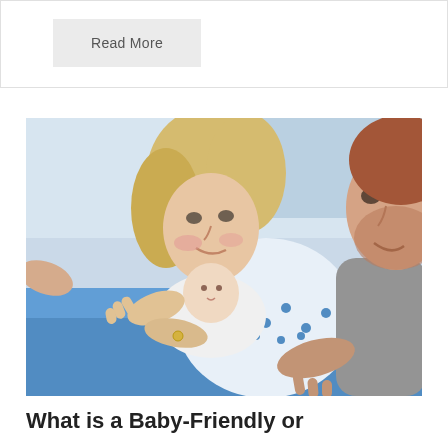Read More
[Figure (photo): A woman with blonde hair and a man with red beard smiling and holding a newborn baby in a hospital setting. The mother is wearing a blue polka-dot hospital gown.]
What is a Baby-Friendly or